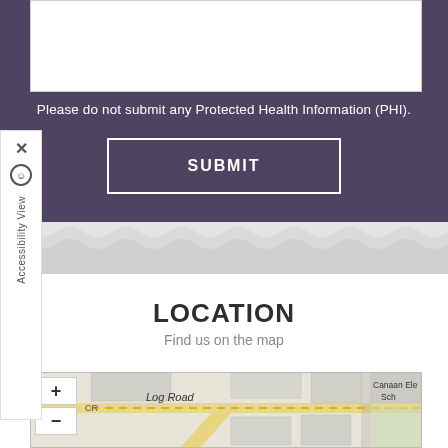Please do not submit any Protected Health Information (PHI).
SUBMIT
LOCATION
Find us on the map
[Figure (map): Interactive street map showing Log Road area with zoom controls (+ and -). Labels visible: Log Road, Canaan Elementary School, CR marker.]